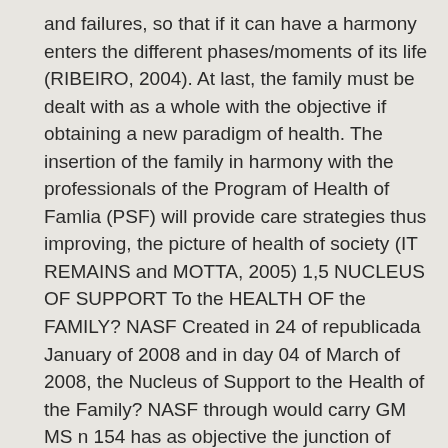and failures, so that if it can have a harmony enters the different phases/moments of its life (RIBEIRO, 2004). At last, the family must be dealt with as a whole with the objective if obtaining a new paradigm of health. The insertion of the family in harmony with the professionals of the Program of Health of Famlia (PSF) will provide care strategies thus improving, the picture of health of society (IT REMAINS and MOTTA, 2005) 1,5 NUCLEUS OF SUPPORT To the HEALTH OF the FAMILY? NASF Created in 24 of republicada January of 2008 and in day 04 of March of 2008, the Nucleus of Support to the Health of the Family? NASF through would carry GM MS n 154 has as objective the junction of professionals of diverse areas of knowledge and of that they inside act of the Team Health of the Family to share practical in health thus improving, the quality of the care of the population